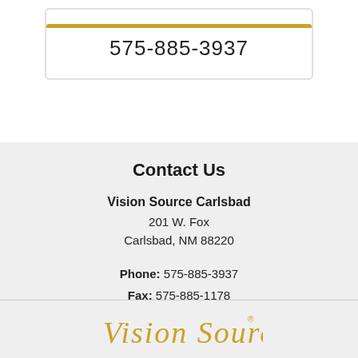575-885-3937
Contact Us
Vision Source Carlsbad
201 W. Fox
Carlsbad, NM 88220
Phone: 575-885-3937
Fax: 575-885-1178
Email Us
[Figure (logo): Vision Source logo in gold cursive script]